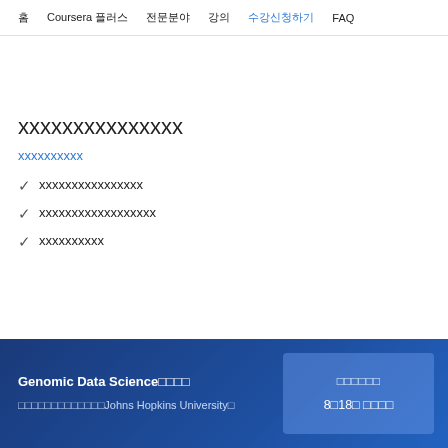홈  Coursera 플러스  전문분야  강의  수강신청하기  FAQ
xxxxxxxxxxxxxxx
xxxxxxxxxx
xxxxxxxxxxxxxxxx
xxxxxxxxxxxxxxxxxx
xxxxxxxxxx
Genomic Data Science□□□□  □□□□□□□□□□□□□Johns Hopkins University□  □□□□□□  8□18□ □□□□